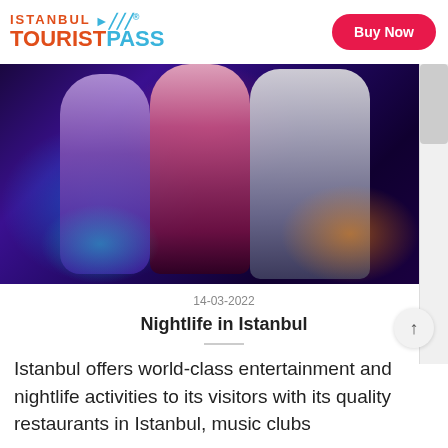Istanbul Tourist Pass — Buy Now
[Figure (photo): People dancing in a nightclub with blue, pink, and red neon lighting]
14-03-2022
Nightlife in Istanbul
Istanbul offers world-class entertainment and nightlife activities to its visitors with its quality restaurants in Istanbul, music clubs